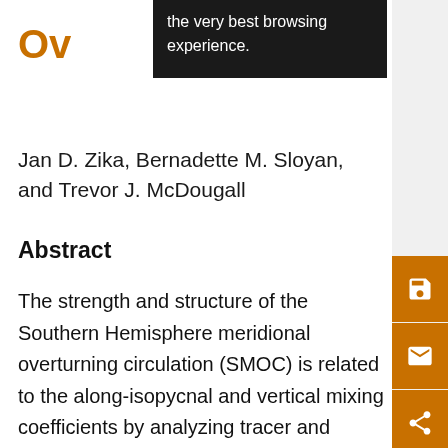[Figure (screenshot): Dark tooltip overlay showing text 'the very best browsing experience.']
Ov[erview]
Jan D. Zika, Bernadette M. Sloyan, and Trevor J. McDougall
Abstract
The strength and structure of the Southern Hemisphere meridional overturning circulation (SMOC) is related to the along-isopycnal and vertical mixing coefficients by analyzing tracer and density fields from a hydrographic climatology. The meridional transport of Upper Circumpolar Deep Water (UCDW) across the Antarctic Circumpolar Current (ACC) is expressed in terms of the along-isopycnal (K) and diapycnal (D) tracer diffusivities and in terms of the dominant water-particle...